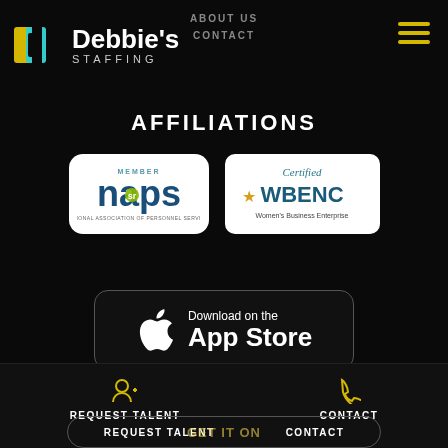Debbie's Staffing
ABOUT US
CONTACT
AFFILIATIONS
[Figure (logo): NAPS Member logo - National Association of Personnel Services, white rounded rectangle badge]
[Figure (logo): Certified WBENC Women's Business Enterprise logo, white rounded rectangle badge]
[Figure (other): Download on the App Store button with Apple logo]
REQUEST TALENT    CONTACT